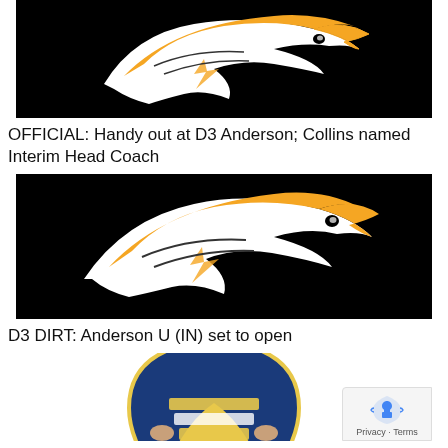[Figure (logo): Anderson University Ravens/Hawks athletic logo — stylized bird head in orange and white on black background]
OFFICIAL: Handy out at D3 Anderson; Collins named Interim Head Coach
[Figure (logo): Anderson University Ravens/Hawks athletic logo — stylized bird head in orange and white on black background (larger view)]
D3 DIRT: Anderson U (IN) set to open
[Figure (logo): Partial view of a blue and gold athletic logo at the bottom of the page]